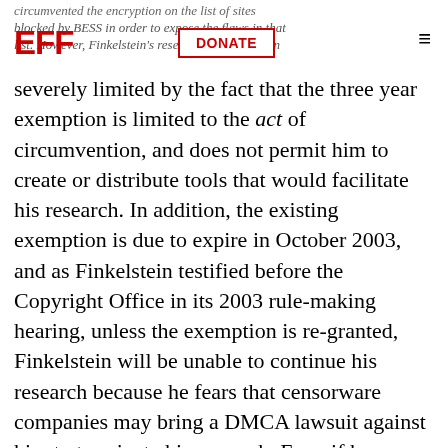circumvented the encryption on the list of sites blocked by BESS in order to expose the flaws in that list. However, Finkelstein's research work has been
severely limited by the fact that the three year exemption is limited to the act of circumvention, and does not permit him to create or distribute tools that would facilitate his research. In addition, the existing exemption is due to expire in October 2003, and as Finkelstein testified before the Copyright Office in its 2003 rule-making hearing, unless the exemption is re-granted, Finkelstein will be unable to continue his research because he fears that censorware companies may bring a DMCA lawsuit against him to terminate his research. Even if he were later found not to have violated section 1201, the potential for a DMCA lawsuit would preclude him from undertaking further research. Jennifer 8 Lee, "Cracking the Code of Online Censorship", New York Times, July 19, 2001.